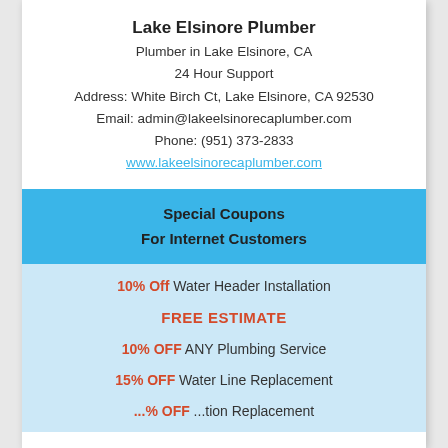Lake Elsinore Plumber
Plumber in Lake Elsinore, CA
24 Hour Support
Address: White Birch Ct, Lake Elsinore, CA 92530
Email: admin@lakeelsinorecaplumber.com
Phone: (951) 373-2833
www.lakeelsinorecaplumber.com
Special Coupons
For Internet Customers
10% Off Water Header Installation
FREE ESTIMATE
10% OFF ANY Plumbing Service
15% OFF Water Line Replacement
...% OFF ...tion Replacement